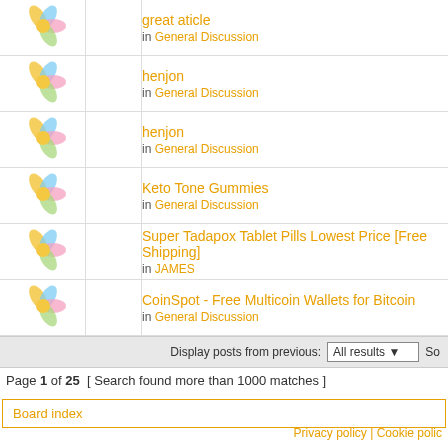|  |  | Post / Forum |
| --- | --- | --- |
| [icon] |  | great aticle / in General Discussion |
| [icon] |  | henjon / in General Discussion |
| [icon] |  | henjon / in General Discussion |
| [icon] |  | Keto Tone Gummies / in General Discussion |
| [icon] |  | Super Tadapox Tablet Pills Lowest Price [Free Shipping] / in JAMES |
| [icon] |  | CoinSpot - Free Multicoin Wallets for Bitcoin / in General Discussion |
Display posts from previous: All results So
Page 1 of 25 [ Search found more than 1000 matches ]
Board index
Privacy policy | Cookie polic